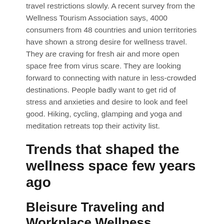travel restrictions slowly. A recent survey from the Wellness Tourism Association says, 4000 consumers from 48 countries and union territories have shown a strong desire for wellness travel. They are craving for fresh air and more open space free from virus scare. They are looking forward to connecting with nature in less-crowded destinations. People badly want to get rid of stress and anxieties and desire to look and feel good. Hiking, cycling, glamping and yoga and meditation retreats top their activity list.
Trends that shaped the wellness space few years ago
Bleisure Traveling and Workplace Wellness